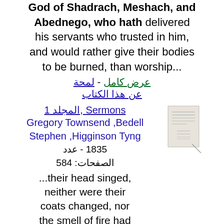God of Shadrach, Meshach, and Abednego, who hath delivered his servants who trusted in him, and would rather give their bodies to be burned, than worship...
عرض كامل - لمحة عن هذا الكتاب
Sermons, المجلد 1
Gregory Townsend Bedell, Stephen Higginson Tyng - 1835 - عدد الصفحات: 584
...their head singed, neither were their coats changed, nor the smell of fire had passed on them,